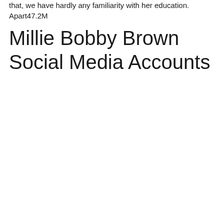that, we have hardly any familiarity with her education. Apart47.2M
Millie Bobby Brown Social Media Accounts